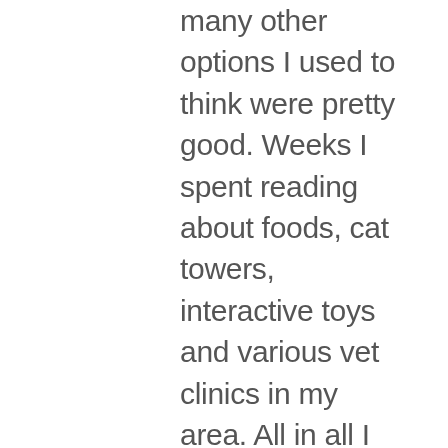many other options I used to think were pretty good. Weeks I spent reading about foods, cat towers, interactive toys and various vet clinics in my area. All in all I was feeling pretty confident in my care giving skills. So far, though, I hadn't found the kitten for me. I've always heard that when you find the perfect pet you will know right away, so with that in the back of my mind I kept looking. After meeting 34 other kitties (no exaggeration here) I set up an appointment to meet 2 kittens and their foster mom. The first was cute